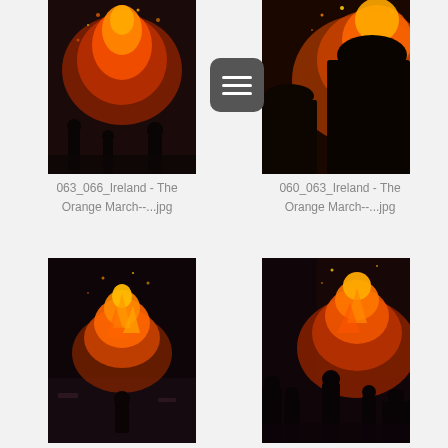[Figure (photo): Night fire scene with people silhouetted against large orange flames and sparks, Ireland Orange March]
[Figure (photo): Silhouetted figures watching large fire with intense orange glow, Ireland Orange March]
063_066_Ireland - The Orange March--...jpg
060_063_Ireland - The Orange March--...jpg
[Figure (photo): Night scene with bonfire on street, lone figure walking toward flames, Ireland Orange March]
[Figure (photo): Night bonfire scene with crowd of silhouetted figures watching large fire, Ireland Orange March]